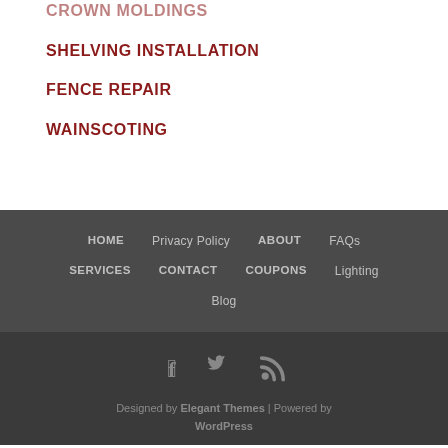CROWN MOLDINGS
SHELVING INSTALLATION
FENCE REPAIR
WAINSCOTING
HOME | Privacy Policy | ABOUT | FAQs | SERVICES | CONTACT | COUPONS | Lighting | Blog
Designed by Elegant Themes | Powered by WordPress